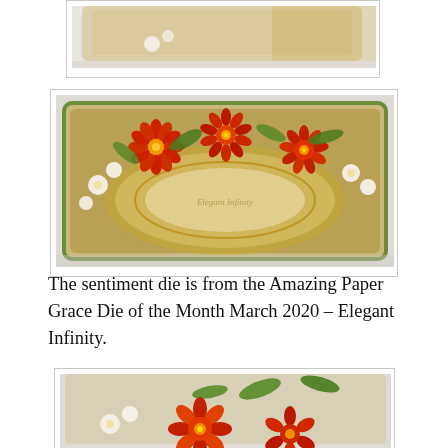[Figure (photo): Partial view of a handmade greeting card with gold filigree die cut elements and floral decorations on white lace background]
[Figure (photo): Handmade greeting card featuring red, orange and yellow dahlia-style paper flowers with white small flowers, arranged on a gold filigree die-cut oval frame with green border on white lace background]
The sentiment die is from the Amazing Paper Grace Die of the Month March 2020 – Elegant Infinity.
[Figure (photo): Close-up partial view of paper flower arrangement showing red and yellow dahlia flowers with green leaves on white lacy background]